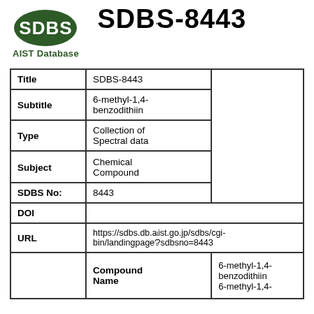[Figure (logo): SDBS AIST Database logo - dark green oval with SDBS text in white]
SDBS-8443
| Title | SDBS-8443 |  |
| Subtitle | 6-methyl-1,4-benzodithiin |  |
| Type | Collection of Spectral data |  |
| Subject | Chemical Compound |  |
| SDBS No: | 8443 |  |
| DOI |  |  |
| URL | https://sdbs.db.aist.go.jp/sdbs/cgi-bin/landingpage?sdbsno=8443 |  |
|  | Compound Name | 6-methyl-1,4-benzodithiin
6-methyl-1,4- |